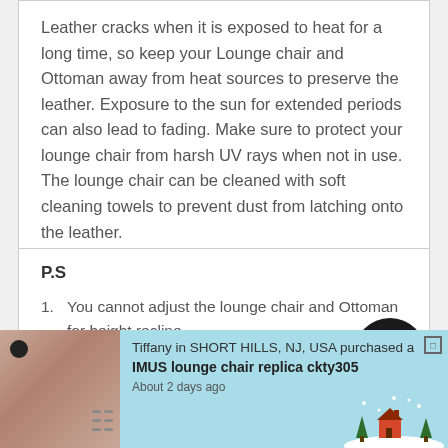Leather cracks when it is exposed to heat for a long time, so keep your Lounge chair and Ottoman away from heat sources to preserve the leather. Exposure to the sun for extended periods can also lead to fading. Make sure to protect your lounge chair from harsh UV rays when not in use. The lounge chair can be cleaned with soft cleaning towels to prevent dust from latching onto the leather.
P.S
You cannot adjust the lounge chair and Ottoman for height recline.
You can enjoy maximum relaxation with the chairs 360-...
[Figure (screenshot): Notification popup showing a product purchase: Tiffany in SHORT HILLS, NJ, USA purchased a IMUS lounge chair replica ckty305, About 2 days ago. Light blue background with winter scene illustration and product image.]